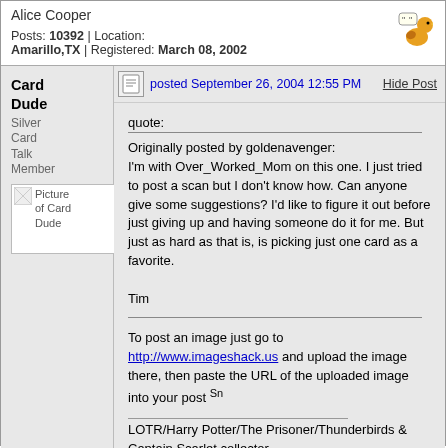Alice Cooper
Posts: 10392 | Location: Amarillo,TX | Registered: March 08, 2002
Card Dude
Silver Card Talk Member
[Figure (photo): Avatar picture of Card Dude]
posted September 26, 2004 12:55 PM
Hide Post
quote:
Originally posted by goldenavenger:
I'm with Over_Worked_Mom on this one. I just tried to post a scan but I don't know how. Can anyone give some suggestions? I'd like to figure it out before just giving up and having someone do it for me. But just as hard as that is, is picking just one card as a favorite.

Tim
To post an image just go to http://www.imageshack.us and upload the image there, then paste the URL of the uploaded image into your post Sn
LOTR/Harry Potter/The Prisoner/Thunderbirds & Captain Scarlet collector